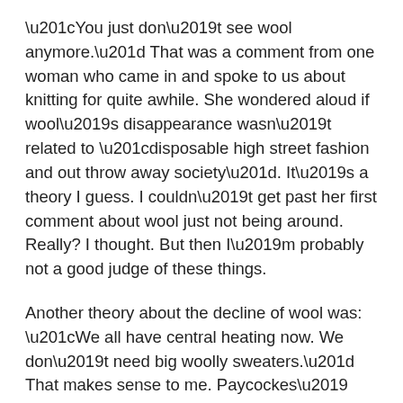“You just don’t see wool anymore.” That was a comment from one woman who came in and spoke to us about knitting for quite awhile. She wondered aloud if wool’s disappearance wasn’t related to “disposable high street fashion and out throw away society”. It’s a theory I guess. I couldn’t get past her first comment about wool just not being around. Really? I thought. But then I’m probably not a good judge of these things.
Another theory about the decline of wool was: “We all have central heating now. We don’t need big woolly sweaters.” That makes sense to me. Paycockes’ visitors also observed, wool might be quite itchy, and moths like to eat it and then there’s the washing or dry cleaning. I hadn’t really considered all these reasons not to wear wool. But then I wouldn’t.
Other people asked me about my circular knitting